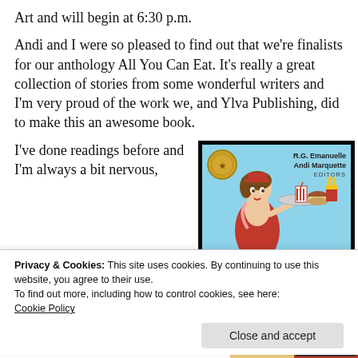Art and will begin at 6:30 p.m.
Andi and I were so pleased to find out that we're finalists for our anthology All You Can Eat. It's really a great collection of stories from some wonderful writers and I'm very proud of the work we, and Ylva Publishing, did to make this an awesome book.
I've done readings before and I'm always a bit nervous,
[Figure (illustration): Book cover for 'All You Can Eat' anthology edited by R.G. Emanuelle and Andi Marquette, showing a retro diner waitress illustration with food items, a gold medal seal, on a light blue background.]
Privacy & Cookies: This site uses cookies. By continuing to use this website, you agree to their use.
To find out more, including how to control cookies, see here:
Cookie Policy
Close and accept
way up to an Oscar